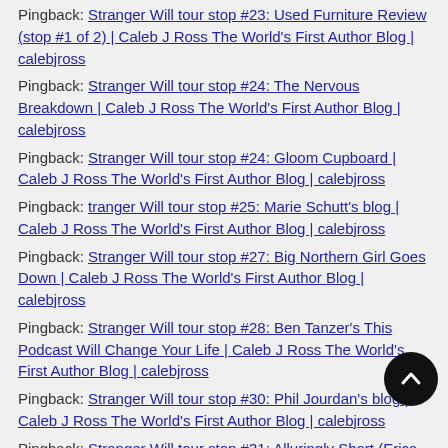Pingback: Stranger Will tour stop #23: Used Furniture Review (stop #1 of 2) | Caleb J Ross The World's First Author Blog | calebjross
Pingback: Stranger Will tour stop #24: The Nervous Breakdown | Caleb J Ross The World's First Author Blog | calebjross
Pingback: Stranger Will tour stop #24: Gloom Cupboard | Caleb J Ross The World's First Author Blog | calebjross
Pingback: tranger Will tour stop #25: Marie Schutt's blog | Caleb J Ross The World's First Author Blog | calebjross
Pingback: Stranger Will tour stop #27: Big Northern Girl Goes Down | Caleb J Ross The World's First Author Blog | calebjross
Pingback: Stranger Will tour stop #28: Ben Tanzer's This Podcast Will Change Your Life | Caleb J Ross The World's First Author Blog | calebjross
Pingback: Stranger Will tour stop #30: Phil Jourdan's blog | Caleb J Ross The World's First Author Blog | calebjross
Pingback: Stranger Will tour stop #31: Alluringly Short (Erica Mena's blog) | Caleb J Ross The World's First Author Blog |